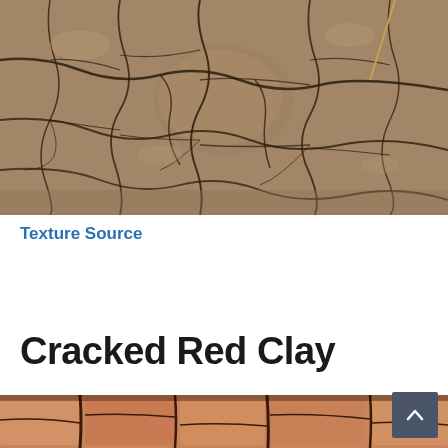[Figure (photo): Close-up photograph of dry, cracked earth/clay soil with a large grey-brown rock/stone in the center. The soil has deep crack patterns throughout forming irregular polygon shapes. A thin dry straw or grass stem is visible in the upper right corner.]
Texture Source
Cracked Red Clay
[Figure (photo): Partial photograph of cracked red clay soil, showing warm reddish-brown cracked earth with deep fissures forming irregular polygon chunks.]